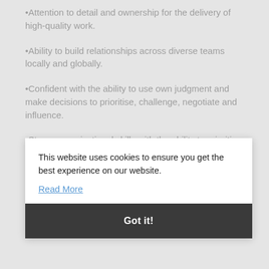Attention to detail and ownership for the delivery of high-quality work.
Ability to build relationships across diverse teams locally and globally.
Confident with the ability to use own judgment and make decisions to prioritise, challenge, negotiate and influence.
Strong organisational skills with the ability to prioritise a busy and often conflicting workload.
A flexible and professional approach, remaining calm under pressure.
This website uses cookies to ensure you get the best experience on our website.
Read More
Got it!